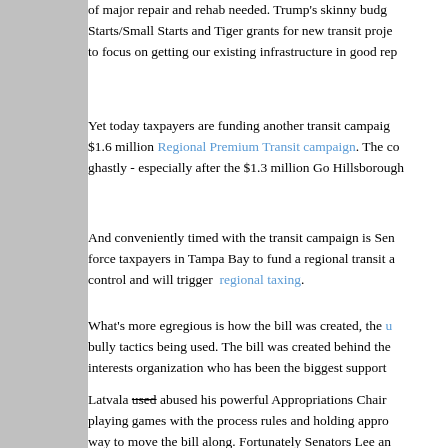of major repair and rehab needed. Trump's skinny budget eliminates New Starts/Small Starts and Tiger grants for new transit projects, a good reason to focus on getting our existing infrastructure in good rep...
Yet today taxpayers are funding another transit campaign costing $1.6 million Regional Premium Transit campaign. The cost is ghastly - especially after the $1.3 million Go Hillsborough...
And conveniently timed with the transit campaign is Sen... force taxpayers in Tampa Bay to fund a regional transit a... control and will trigger regional taxing.
What's more egregious is how the bill was created, the u... bully tactics being used. The bill was created behind the... interests organization who has been the biggest support...
Latvala used abused his powerful Appropriations Chair... playing games with the process rules and holding appro... way to move the bill along. Fortunately Senators Lee an... reign in some of the shenanigans we fully expect with a... efforts are greatly appreciated but we hope the bill dies.